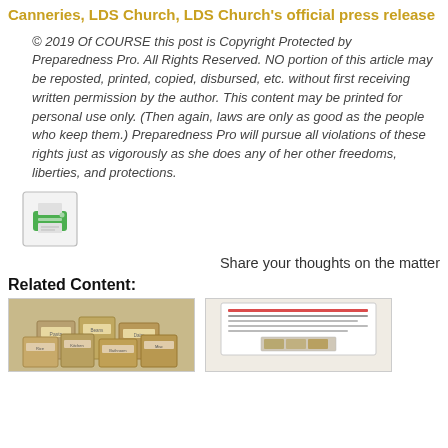Canneries, LDS Church, LDS Church's official press release
© 2019 Of COURSE this post is Copyright Protected by Preparedness Pro. All Rights Reserved. NO portion of this article may be reposted, printed, copied, disbursed, etc. without first receiving written permission by the author. This content may be printed for personal use only. (Then again, laws are only as good as the people who keep them.) Preparedness Pro will pursue all violations of these rights just as vigorously as she does any of her other freedoms, liberties, and protections.
[Figure (other): Print button icon — a green printer icon inside a bordered square button]
Share your thoughts on the matter
Related Content:
[Figure (photo): Cardboard boxes with labels, stacked together]
[Figure (photo): A document page with text and a small image at the bottom]